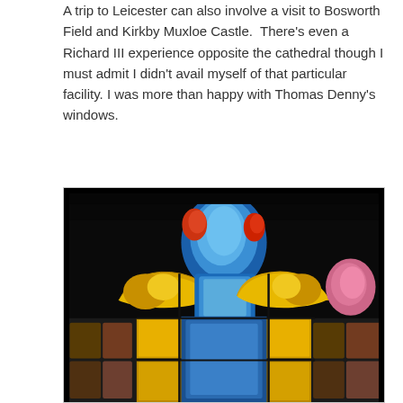A trip to Leicester can also involve a visit to Bosworth Field and Kirkby Muxloe Castle.  There's even a Richard III experience opposite the cathedral though I must admit I didn't avail myself of that particular facility. I was more than happy with Thomas Denny's windows.
[Figure (photo): Photograph of a vibrant stained glass window by Thomas Denny, showing richly coloured sections in blue, gold, yellow, red, and pink against a dark background. The window features abstract and figurative forms typical of modern stained glass art.]